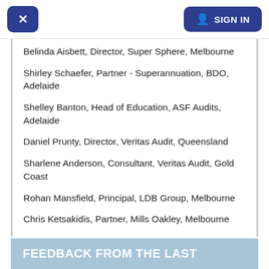× | SIGN IN
Belinda Aisbett, Director, Super Sphere, Melbourne
Shirley Schaefer, Partner - Superannuation, BDO, Adelaide
Shelley Banton, Head of Education, ASF Audits, Adelaide
Daniel Prunty, Director, Veritas Audit, Queensland
Sharlene Anderson, Consultant, Veritas Audit, Gold Coast
Rohan Mansfield, Principal, LDB Group, Melbourne
Chris Ketsakidis, Partner, Mills Oakley, Melbourne
FEEDBACK FROM THE LAST